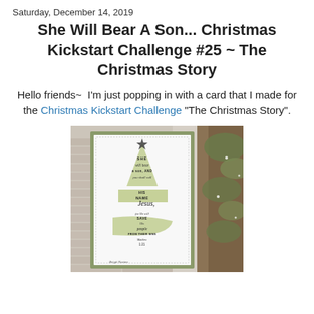Saturday, December 14, 2019
She Will Bear A Son... Christmas Kickstart Challenge #25 ~ The Christmas Story
Hello friends~  I'm just popping in with a card that I made for the Christmas Kickstart Challenge "The Christmas Story".
[Figure (photo): A handmade Christmas card featuring a green tree shape composed of text reading 'SHE will bear a son, AND you shall call HIS NAME Jesus, for He will SAVE His people FROM THEIR SINS Matthew 1:21', displayed against a white background with a dotted border and green mat, photographed on a wooden and stone surface with pine branches visible on the right.]